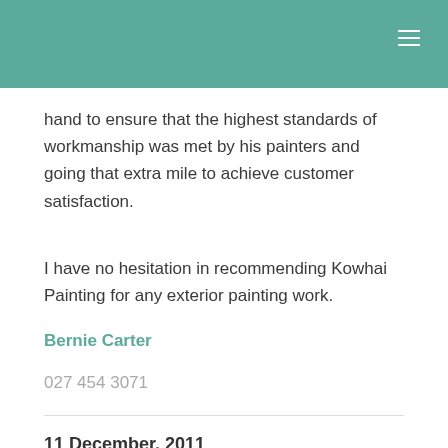hand to ensure that the highest standards of workmanship was met by his painters and going that extra mile to achieve customer satisfaction.
I have no hesitation in recommending Kowhai Painting for any exterior painting work.
Bernie Carter
027 454 3071
11 December, 2011